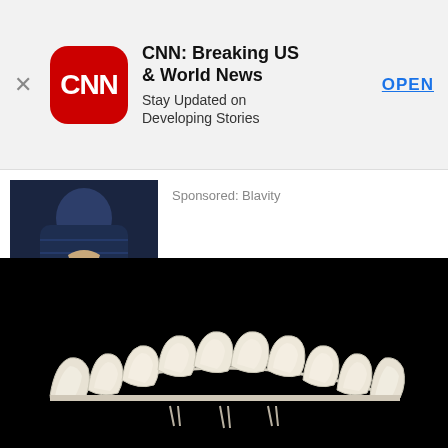[Figure (screenshot): CNN Breaking News app advertisement banner with red CNN logo, app title 'CNN: Breaking US & World News', subtitle 'Stay Updated on Developing Stories', and blue OPEN button. X close button on the left.]
[Figure (photo): Person in dark puffer jacket with hands pressed together in prayer position]
Sponsored: Blavity
[Figure (photo): Amish couple standing together, man in black vest and woman in teal dress, in front of a chalkboard]
[Photos] This Is Why Amish Women Can't Have Any Buttons
Sponsored: Food Sided
[Figure (photo): Dental crown or dental bridge set of teeth displayed on black background, white ceramic teeth]